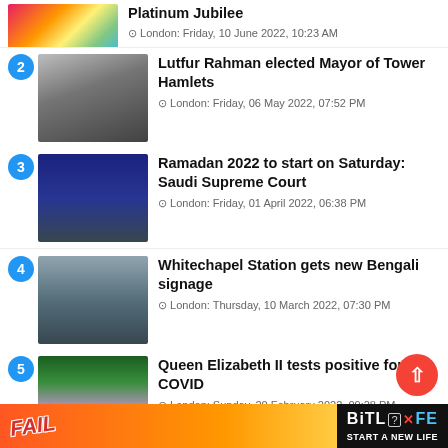Platinum Jubilee
London: Friday, 10 June 2022, 10:23 AM
2. Lutfur Rahman elected Mayor of Tower Hamlets
London: Friday, 06 May 2022, 07:52 PM
3. Ramadan 2022 to start on Saturday: Saudi Supreme Court
London: Friday, 01 April 2022, 06:38 PM
4. Whitechapel Station gets new Bengali signage
London: Thursday, 10 March 2022, 07:30 PM
5. Queen Elizabeth II tests positive for COVID
London: Sunday, 20 February 2022, 09:28 PM
[Figure (screenshot): BitLife advertisement banner at bottom of page]